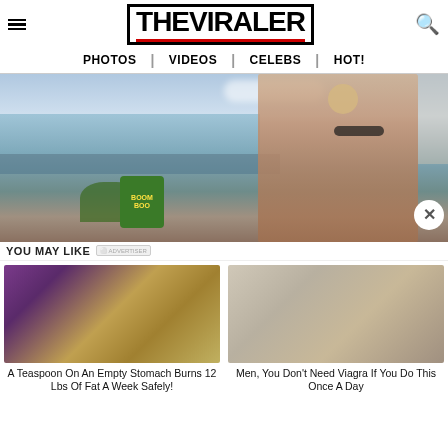THE VIRALER
PHOTOS | VIDEOS | CELEBS | HOT!
[Figure (photo): Woman in leopard print swimwear with sunglasses outdoors near water, with Boom Boo product visible]
YOU MAY LIKE
[Figure (photo): Fitness woman running and pile of yellow powder/spice]
A Teaspoon On An Empty Stomach Burns 12 Lbs Of Fat A Week Safely!
[Figure (photo): Woman standing in bright room]
Men, You Don't Need Viagra If You Do This Once A Day